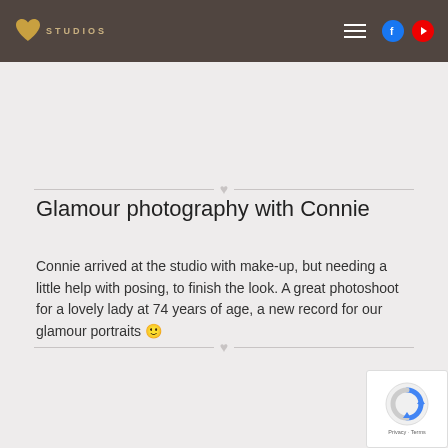S9 STUDIOS
Glamour photography with Connie
Connie arrived at the studio with make-up, but needing a little help with posing, to finish the look. A great photoshoot for a lovely lady at 74 years of age, a new record for our glamour portraits 🙂
[Figure (logo): reCAPTCHA badge with blue arrow icon, Privacy and Terms text]